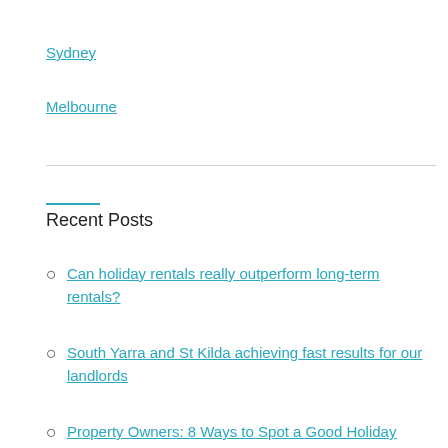Sydney
Melbourne
Recent Posts
Can holiday rentals really outperform long-term rentals?
South Yarra and St Kilda achieving fast results for our landlords
Property Owners: 8 Ways to Spot a Good Holiday